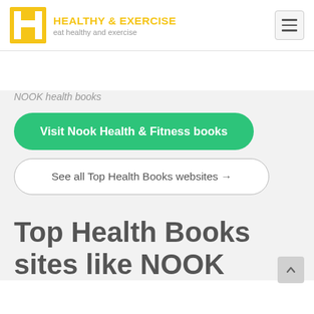HEALTHY & EXERCISE — eat healthy and exercise
NOOK health books
Visit Nook Health & Fitness books
See all Top Health Books websites →
Top Health Books sites like NOOK